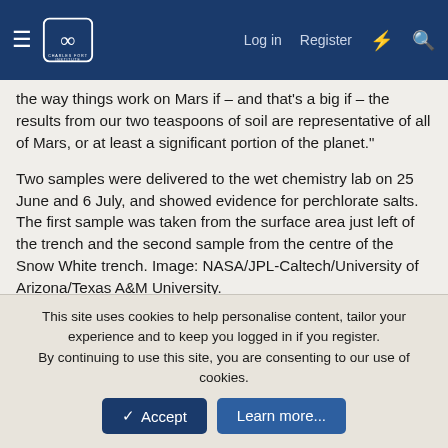Charles Fort Institute — Log in | Register
the way things work on Mars if – and that's a big if – the results from our two teaspoons of soil are representative of all of Mars, or at least a significant portion of the planet."
Two samples were delivered to the wet chemistry lab on 25 June and 6 July, and showed evidence for perchlorate salts. The first sample was taken from the surface area just left of the trench and the second sample from the centre of the Snow White trench. Image: NASA/JPL-Caltech/University of Arizona/Texas A&M University.
The Phoenix team have taken an unusual step in reporting on these results half way through the investigation, following claims in the press that a major finding regarding habitability on Mars was being held back.
This site uses cookies to help personalise content, tailor your experience and to keep you logged in if you register.
By continuing to use this site, you are consenting to our use of cookies.